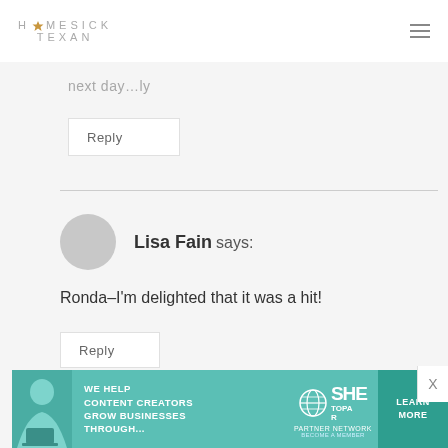HOMESICK TEXAN
next day…ly
Reply
Lisa Fain says:
Ronda–I'm delighted that it was a hit!
Reply
[Figure (infographic): SHE Partner Network advertisement banner: 'We help content creators grow businesses through...' with Learn More button]